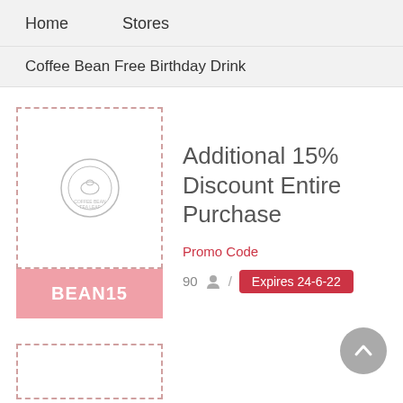Home    Stores
Coffee Bean Free Birthday Drink
Additional 15% Discount Entire Purchase
Promo Code
BEAN15
90 / Expires 24-6-22